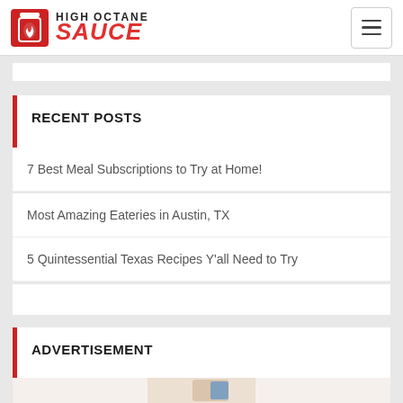HIGH OCTANE SAUCE
RECENT POSTS
7 Best Meal Subscriptions to Try at Home!
Most Amazing Eateries in Austin, TX
5 Quintessential Texas Recipes Y'all Need to Try
ADVERTISEMENT
[Figure (photo): Advertisement image partially visible at bottom of page]